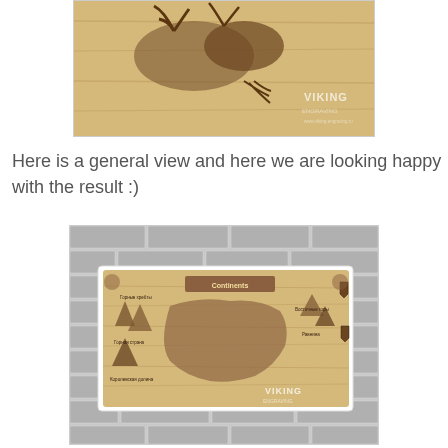[Figure (photo): Close-up of a wood-burned artwork showing a dragon or lizard motif on a light wooden plaque, with a VIKING brand watermark in the lower right corner.]
Here is a general view and here we are looking happy with the result :)
[Figure (photo): A wood-burned map plaque mounted on a white brick wall. The plaque shows a detailed fantasy map with mountains, labels, and illustrations, with a VIKING brand watermark in the lower right corner.]
[Figure (photo): Bottom portion of a photo showing a person (partially visible) sitting among metallic chair or furniture frames in a dark indoor setting.]